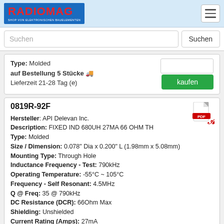[Figure (logo): RADIOMAG logo — red text on blue background with tagline SHOP VON ELEKTRONISCHEN BAUELEMENTEN]
Suchen
Type: Molded
auf Bestellung 5 Stücke 🚚
Lieferzeit 21-28 Tag (e)
0819R-92F
Hersteller: API Delevan Inc.
Description: FIXED IND 680UH 27MA 66 OHM TH
Type: Molded
Size / Dimension: 0.078" Dia x 0.200" L (1.98mm x 5.08mm)
Mounting Type: Through Hole
Inductance Frequency - Test: 790kHz
Operating Temperature: -55°C ~ 105°C
Frequency - Self Resonant: 4.5MHz
Q @ Freq: 35 @ 790kHz
DC Resistance (DCR): 66Ohm Max
Shielding: Unshielded
Current Rating (Amps): 27mA
Inductance: 680uH